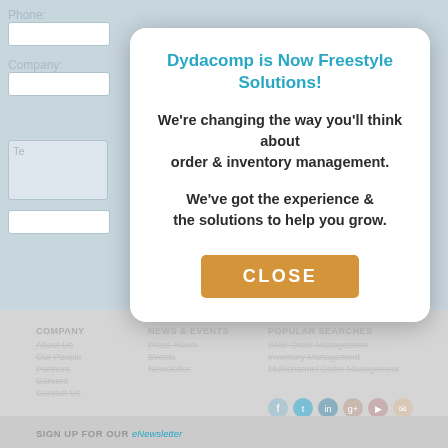[Figure (screenshot): Background showing a partially visible web form with light blue-gray fields and labels for Phone, Company, etc.]
Dydacomp is Now Freestyle Solutions!
We're changing the way you'll think about order & inventory management.
We've got the experience & the solutions to help you grow.
CLOSE
COMPANY
About Us
Our People
Partners
Careers
Contact Us

NEWS & EVENTS
Press Room
Events
Newsletter

POPULAR SEARCHES
SMB Order Management
Inventory Management
Multichannel Order Management
SIGN UP FOR OUR eNewsletter